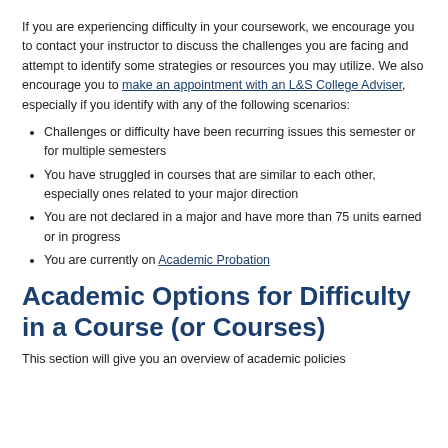If you are experiencing difficulty in your coursework, we encourage you to contact your instructor to discuss the challenges you are facing and attempt to identify some strategies or resources you may utilize. We also encourage you to make an appointment with an L&S College Adviser, especially if you identify with any of the following scenarios:
Challenges or difficulty have been recurring issues this semester or for multiple semesters
You have struggled in courses that are similar to each other, especially ones related to your major direction
You are not declared in a major and have more than 75 units earned or in progress
You are currently on Academic Probation
Academic Options for Difficulty in a Course (or Courses)
This section will give you an overview of academic policies